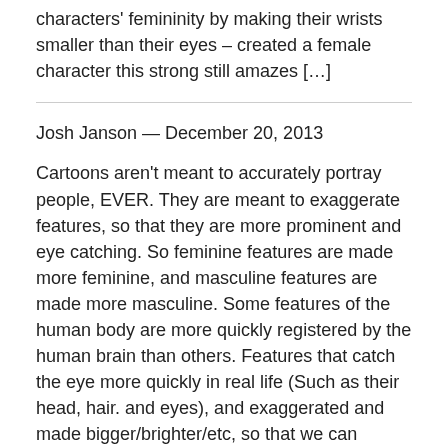characters' femininity by making their wrists smaller than their eyes – created a female character this strong still amazes […]
Josh Janson — December 20, 2013
Cartoons aren't meant to accurately portray people, EVER. They are meant to exaggerate features, so that they are more prominent and eye catching. So feminine features are made more feminine, and masculine features are made more masculine. Some features of the human body are more quickly registered by the human brain than others. Features that catch the eye more quickly in real life (Such as their head, hair. and eyes), and exaggerated and made bigger/brighter/etc, so that we can recognize them more expressively. If they were made realistically, out minds would interpret them as bland (That's why you like how you look in the mirror, but not how you look in pictures). Animated films, video games, and television programs that give the characters very realistic proportions